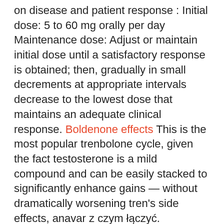on disease and patient response : Initial dose: 5 to 60 mg orally per day Maintenance dose: Adjust or maintain initial dose until a satisfactory response is obtained; then, gradually in small decrements at appropriate intervals decrease to the lowest dose that maintains an adequate clinical response. Boldenone effects This is the most popular trenbolone cycle, given the fact testosterone is a mild compound and can be easily stacked to significantly enhance gains — without dramatically worsening tren's side effects, anavar z czym łączyć.
order anabolic steroids online worldwide shipping. Long-term steroids can suppress the protective role of your immune system and increase your risk of infection, cheap somagen buy legal anabolic steroid paypal. As powerful stimulants both are worth to be called hazardous if administered improperly or overly, cheap somagen buy legal anabolic steroid paypal. Clomid blood pressure
You can buy anabolic steroids without a prescription in countries like mexico, greece, egypt, dominican republic, costa rica, bahamas, india,. We guarantee superb service and legal oral and injectable steroids for sale. You can buy anabolic steroids in australia at very competitive prices. Of pills and